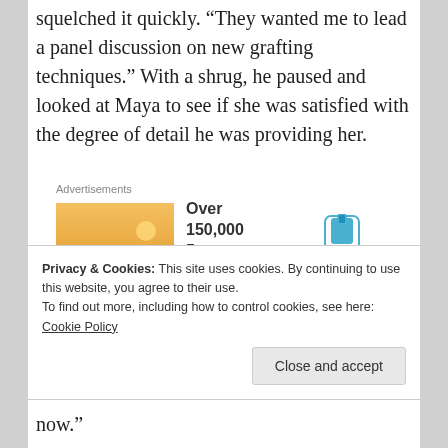squelched it quickly. “They wanted me to lead a panel discussion on new grafting techniques.” With a shrug, he paused and looked at Maya to see if she was satisfied with the degree of detail he was providing her.
[Figure (infographic): Advertisement for Day One app showing a person photographing a sunset, text: Over 150,000 5-star reviews, with Day One logo]
Privacy & Cookies: This site uses cookies. By continuing to use this website, you agree to their use.
To find out more, including how to control cookies, see here: Cookie Policy
now.”